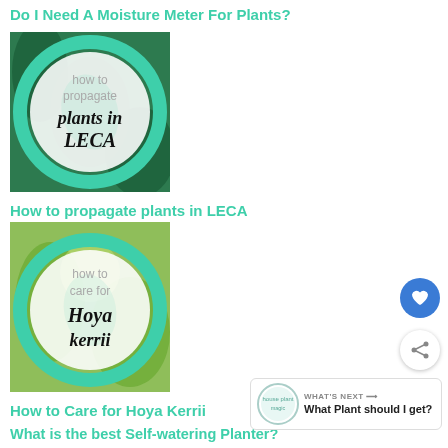Do I Need A Moisture Meter For Plants?
[Figure (illustration): Thumbnail image with green circle overlay on plant background, text 'how to propagate plants in LECA']
How to propagate plants in LECA
[Figure (illustration): Thumbnail image with green circle overlay on Hoya plant background, text 'how to care for Hoya kerrii']
How to Care for Hoya Kerrii
What is the best Self-watering Planter?
[Figure (other): Heart favorite button (blue circle with heart icon)]
[Figure (other): Share button (white circle with share icon)]
[Figure (other): What's Next banner with house plant logo and text 'What Plant should I get?']